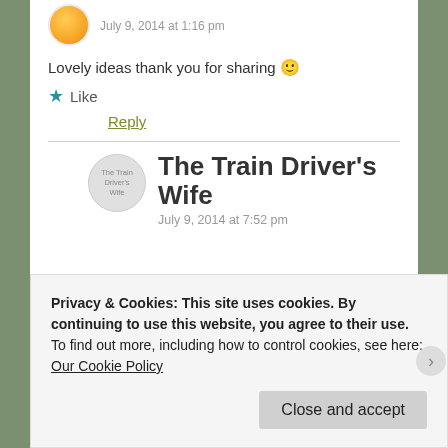July 9, 2014 at 1:16 pm
Lovely ideas thank you for sharing 🙂
Like
Reply
The Train Driver's Wife
July 9, 2014 at 7:52 pm
Privacy & Cookies: This site uses cookies. By continuing to use this website, you agree to their use.
To find out more, including how to control cookies, see here: Our Cookie Policy
Close and accept